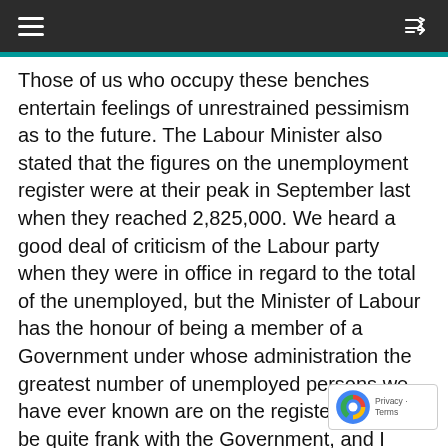Those of us who occupy these benches entertain feelings of unrestrained pessimism as to the future. The Labour Minister also stated that the figures on the unemployment register were at their peak in September last when they reached 2,825,000. We heard a good deal of criticism of the Labour party when they were in office in regard to the total of the unemployed, but the Minister of Labour has the honour of being a member of a Government under whose administration the greatest number of unemployed persons we have ever known are on the register. I want to be quite frank with the Government, and I wish to say that I do not expect them to solve the problem of unemployment. The object of this discussion is to emphasise again certain aspects of the unemployment problem. The